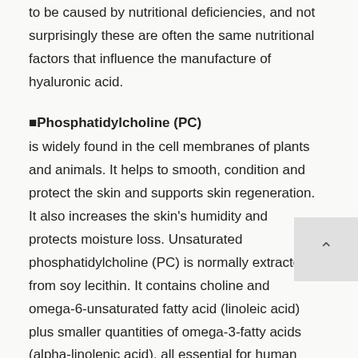to be caused by nutritional deficiencies, and not surprisingly these are often the same nutritional factors that influence the manufacture of hyaluronic acid.
⬛Phosphatidylcholine (PC)
is widely found in the cell membranes of plants and animals. It helps to smooth, condition and protect the skin and supports skin regeneration. It also increases the skin's humidity and protects moisture loss. Unsaturated phosphatidylcholine (PC) is normally extracted from soy lecithin. It contains choline and omega-6-unsaturated fatty acid (linoleic acid) plus smaller quantities of omega-3-fatty acids (alpha-linolenic acid), all essential for human life.